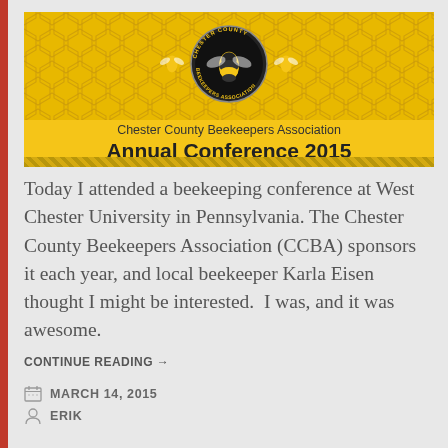[Figure (logo): Chester County Beekeepers Association Annual Conference 2015 banner with honeycomb pattern background, bee logo in circular emblem, and bold title text on yellow background]
Today I attended a beekeeping conference at West Chester University in Pennsylvania. The Chester County Beekeepers Association (CCBA) sponsors it each year, and local beekeeper Karla Eisen thought I might be interested.  I was, and it was awesome.
CONTINUE READING →
MARCH 14, 2015
ERIK